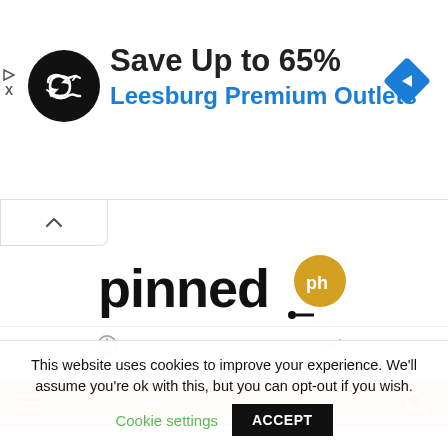[Figure (screenshot): Advertisement banner: circular black logo with double arrow symbol, text 'Save Up to 65%' in bold black and 'Leesburg Premium Outlets' in blue, blue diamond navigation icon on right. Play and X controls on far left.]
[Figure (logo): Pinned.ph logo: bold black 'pinned' text with orange map-pin style badge containing 'ph' in white, and a small dot/pin underline element.]
LATEST   TRENDING
[Figure (screenshot): Gold/amber navigation toolbar with hamburger menu icon on left and search magnifier icon on right.]
This website uses cookies to improve your experience. We'll assume you're ok with this, but you can opt-out if you wish.
Cookie settings   ACCEPT